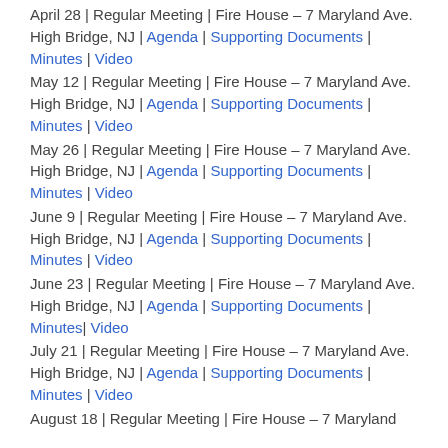April 28 | Regular Meeting | Fire House – 7 Maryland Ave. High Bridge, NJ | Agenda | Supporting Documents | Minutes | Video
May 12 | Regular Meeting | Fire House – 7 Maryland Ave. High Bridge, NJ | Agenda | Supporting Documents | Minutes | Video
May 26 | Regular Meeting | Fire House – 7 Maryland Ave. High Bridge, NJ | Agenda | Supporting Documents | Minutes | Video
June 9 | Regular Meeting | Fire House – 7 Maryland Ave. High Bridge, NJ | Agenda | Supporting Documents | Minutes | Video
June 23 | Regular Meeting | Fire House – 7 Maryland Ave. High Bridge, NJ | Agenda | Supporting Documents | Minutes| Video
July 21 | Regular Meeting | Fire House – 7 Maryland Ave. High Bridge, NJ | Agenda | Supporting Documents | Minutes | Video
August 18 | Regular Meeting | Fire House – 7 Maryland